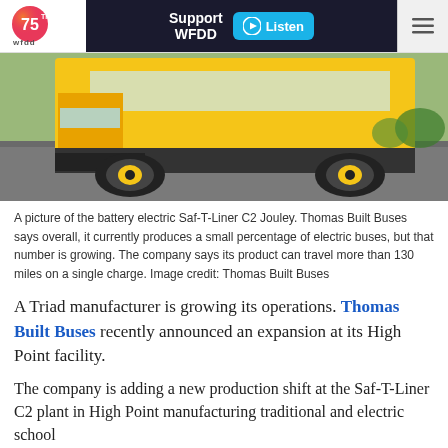WFDD 75th — Support WFDD | Listen
[Figure (photo): A yellow school bus (Saf-T-Liner C2 Jouley battery electric bus) photographed from a low front angle, showing the front bumper and wheels on pavement.]
A picture of the battery electric Saf-T-Liner C2 Jouley. Thomas Built Buses says overall, it currently produces a small percentage of electric buses, but that number is growing. The company says its product can travel more than 130 miles on a single charge. Image credit: Thomas Built Buses
A Triad manufacturer is growing its operations. Thomas Built Buses recently announced an expansion at its High Point facility.
The company is adding a new production shift at the Saf-T-Liner C2 plant in High Point manufacturing traditional and electric school